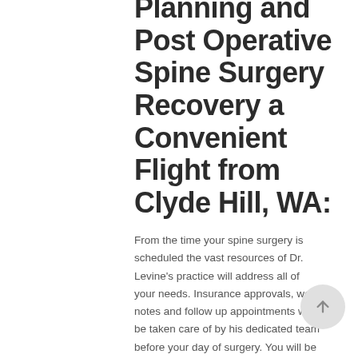Planning and Post Operative Spine Surgery Recovery a Convenient Flight from Clyde Hill, WA:
From the time your spine surgery is scheduled the vast resources of Dr. Levine's practice will address all of your needs. Insurance approvals, work notes and follow up appointments will be taken care of by his dedicated team before your day of surgery. You will be educated on safe post-operative medications and activities to make your recovery safe and comfortable. Any pre-operative testing required prior to surgery will be scheduled by our surgical planners. If you